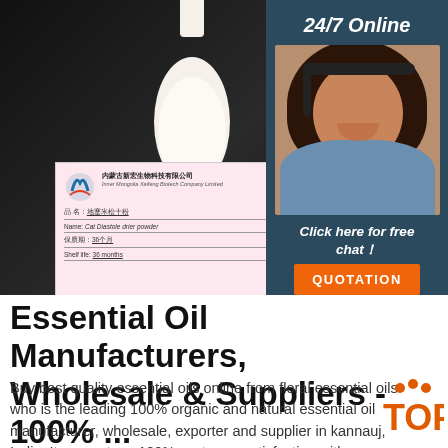[Figure (photo): Product photo of a white powder (Cat Diastole drier powder) with a milk bottle, a petri dish with white powder, and a product label card from Inner Mongolia Xaifeng Biotech Company Limited. A sidebar shows a customer service representative with '24/7 Online' text, 'Click here for free chat!' and an orange 'QUOTATION' button.]
Essential Oil Manufacturers, Wholesale & Suppliers - 100% ...
Buy best quality essential oils online from floral essential oils who is the leading 100% organic and natural essential oil manufacturer, wholesale, exporter and supplier in kannauj, India. It guarantees 100% customer satisfaction with